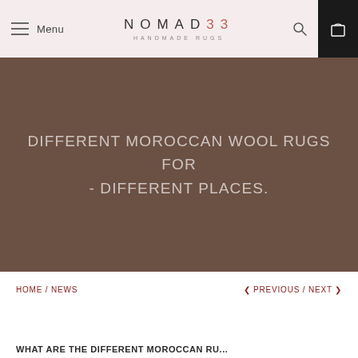Menu | NOMAD33 HANDMADE RUGS
[Figure (screenshot): Hero banner with dark brown/taupe background and centered white uppercase text: DIFFERENT MOROCCAN WOOL RUGS FOR - DIFFERENT PLACES.]
DIFFERENT MOROCCAN WOOL RUGS FOR - DIFFERENT PLACES.
HOME / NEWS
< PREVIOUS / NEXT >
WHAT ARE THE DIFFERENT MOROCCAN RU...